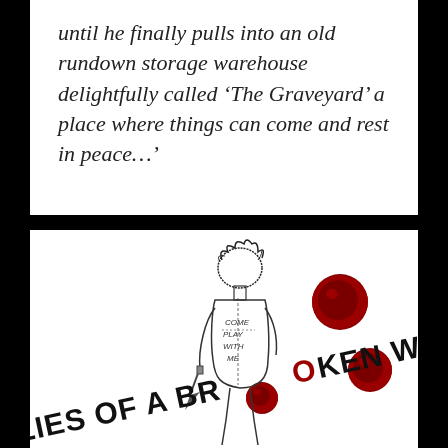until he finally pulls into an old rundown storage warehouse delightfully called ‘The Graveyard’ a place where things can come and rest in peace.…’
[Figure (illustration): Book cover illustration for 'Lies of a Broken World' showing a sketched figure holding a knife with text 'COME PLAY WITH ME' on its body, red blood splatter circles, and bold title text 'LIES OF A BROKEN WORLD' at the bottom.]